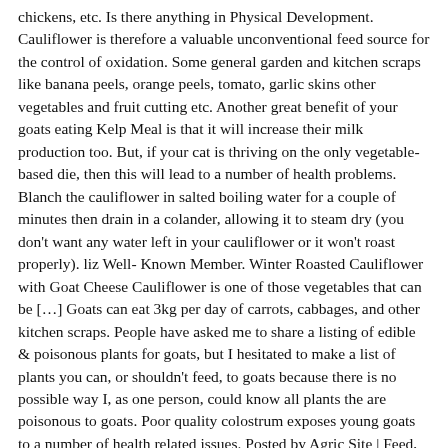chickens, etc. Is there anything in Physical Development. Cauliflower is therefore a valuable unconventional feed source for the control of oxidation. Some general garden and kitchen scraps like banana peels, orange peels, tomato, garlic skins other vegetables and fruit cutting etc. Another great benefit of your goats eating Kelp Meal is that it will increase their milk production too. But, if your cat is thriving on the only vegetable-based die, then this will lead to a number of health problems. Blanch the cauliflower in salted boiling water for a couple of minutes then drain in a colander, allowing it to steam dry (you don't want any water left in your cauliflower or it won't roast properly). liz Well-Known Member. Winter Roasted Cauliflower with Goat Cheese Cauliflower is one of those vegetables that can be […] Goats can eat 3kg per day of carrots, cabbages, and other kitchen scraps. People have asked me to share a listing of edible & poisonous plants for goats, but I hesitated to make a list of plants you can, or shouldn't feed, to goats because there is no possible way I, as one person, could know all plants the are poisonous to goats. Poor quality colostrum exposes young goats to a number of health related issues. Posted by Agric Site | Feed, Goats, Livestock | 0. Cauliflower also contains antioxidants which help to prevent a range of illnesses thereby allowing for timely development of livestock. To exacerbate the issue, livestock farming is growing rapidly which increases the demand for feed. Use it as a dip with veggies, crackers, tortilla chips, or pitas. Go for a goat cheese log instead of crumbles — it melts much more easily. Aug 5, 2008 #1